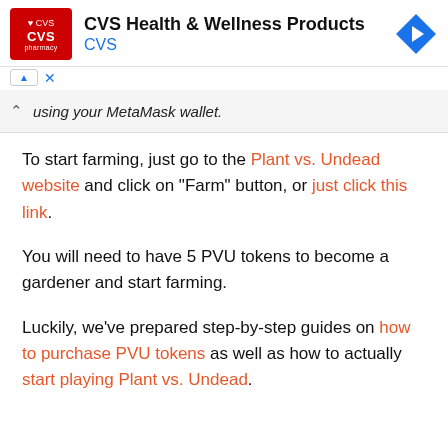[Figure (other): CVS Pharmacy advertisement banner with logo, title 'CVS Health & Wellness Products', CVS link, and navigation arrow icon]
using your MetaMask wallet.
To start farming, just go to the Plant vs. Undead website and click on “Farm” button, or just click this link.
You will need to have 5 PVU tokens to become a gardener and start farming.
Luckily, we’ve prepared step-by-step guides on how to purchase PVU tokens as well as how to actually start playing Plant vs. Undead.